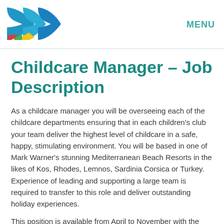[Figure (logo): Mark Warner logo with colorful curved arrow shapes in blue, red, green, and yellow]
MENU
Childcare Manager – Job Description
As a childcare manager you will be overseeing each of the childcare departments ensuring that in each children's club your team deliver the highest level of childcare in a safe, happy, stimulating environment. You will be based in one of Mark Warner's stunning Mediterranean Beach Resorts in the likes of Kos, Rhodes, Lemnos, Sardinia Corsica or Turkey. Experience of leading and supporting a large team is required to transfer to this role and deliver outstanding holiday experiences.
This position is available from April to November with the